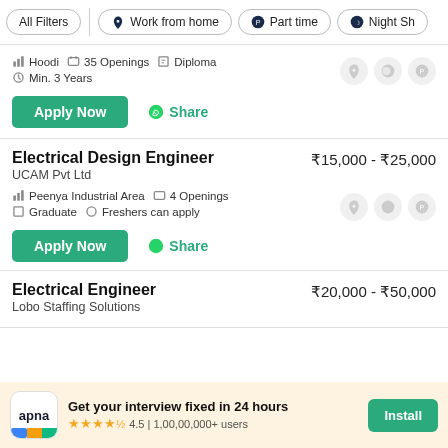All Filters | Work from home | Part time | Night Sh...
Hoodi | 35 Openings | Diploma | Min. 3 Years
Apply Now | Share
Electrical Design Engineer
UCAM Pvt Ltd
₹15,000 - ₹25,000
Peenya Industrial Area | 4 Openings | Graduate | Freshers can apply
Apply Now | Share
Electrical Engineer
Lobo Staffing Solutions
₹20,000 - ₹50,000
Get your interview fixed in 24 hours
4.5 | 1,00,00,000+ users
Install